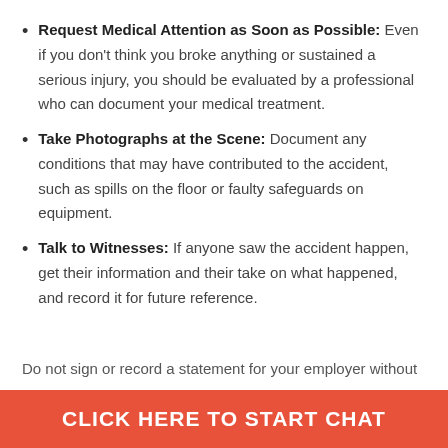Request Medical Attention as Soon as Possible: Even if you don't think you broke anything or sustained a serious injury, you should be evaluated by a professional who can document your medical treatment.
Take Photographs at the Scene: Document any conditions that may have contributed to the accident, such as spills on the floor or faulty safeguards on equipment.
Talk to Witnesses: If anyone saw the accident happen, get their information and their take on what happened, and record it for future reference.
Do not sign or record a statement for your employer without
CLICK HERE TO START CHAT